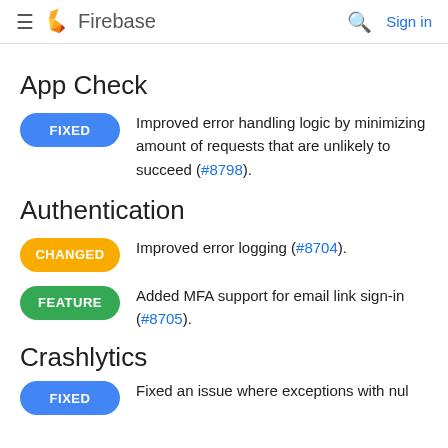Firebase  Sign in
App Check
FIXED — Improved error handling logic by minimizing amount of requests that are unlikely to succeed (#8798).
Authentication
CHANGED — Improved error logging (#8704).
FEATURE — Added MFA support for email link sign-in (#8705).
Crashlytics
FIXED — Fixed an issue where exceptions with nul...